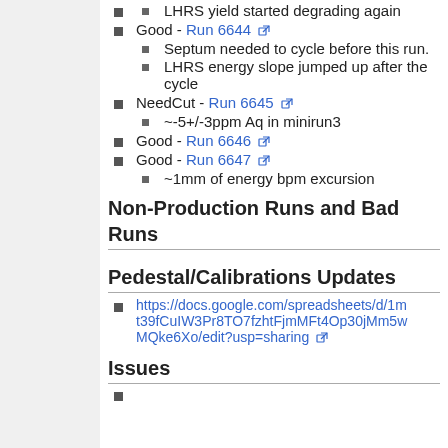LHRS yield started degrading again
Good - Run 6644
Septum needed to cycle before this run.
LHRS energy slope jumped up after the cycle
NeedCut - Run 6645
~-5+/-3ppm Aq in minirun3
Good - Run 6646
Good - Run 6647
~1mm of energy bpm excursion
Non-Production Runs and Bad Runs
Pedestal/Calibrations Updates
https://docs.google.com/spreadsheets/d/1mt39fCuIW3Pr8TO7fzhtFjmMFt4Op30jMm5wMQke6Xo/edit?usp=sharing
Issues